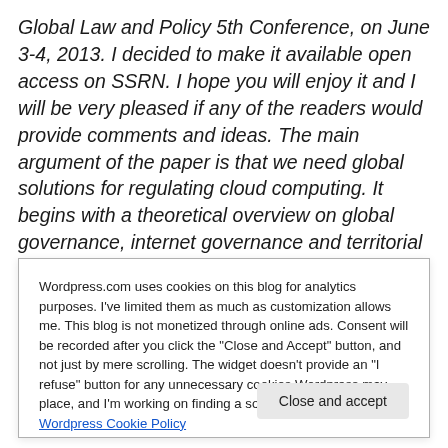Global Law and Policy 5th Conference, on June 3-4, 2013. I decided to make it available open access on SSRN. I hope you will enjoy it and I will be very pleased if any of the readers would provide comments and ideas. The main argument of the paper is that we need global solutions for regulating cloud computing. It begins with a theoretical overview on global governance, internet governance and territorial scope of laws, and it ends with three probable solutions for global rules envisaging the
Wordpress.com uses cookies on this blog for analytics purposes. I've limited them as much as customization allows me. This blog is not monetized through online ads. Consent will be recorded after you click the "Close and Accept" button, and not just by mere scrolling. The widget doesn't provide an "I refuse" button for any unnecessary cookies Wordpress may place, and I'm working on finding a solution for this. Wordpress Cookie Policy